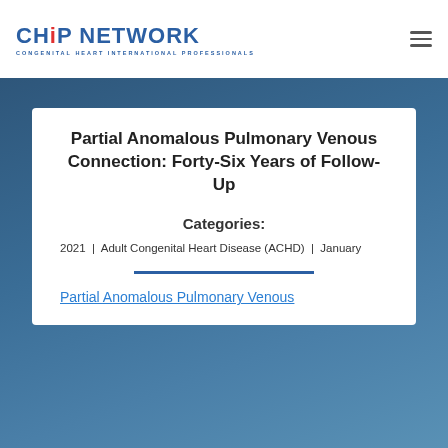CHiP NETWORK — CONGENITAL HEART INTERNATIONAL PROFESSIONALS
Partial Anomalous Pulmonary Venous Connection: Forty-Six Years of Follow-Up
Categories:
2021 | Adult Congenital Heart Disease (ACHD) | January
Partial Anomalous Pulmonary Venous